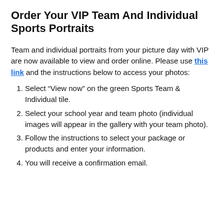Order Your VIP Team And Individual Sports Portraits
Team and individual portraits from your picture day with VIP are now available to view and order online. Please use this link and the instructions below to access your photos:
Select “View now” on the green Sports Team & Individual tile.
Select your school year and team photo (individual images will appear in the gallery with your team photo).
Follow the instructions to select your package or products and enter your information.
You will receive a confirmation email.